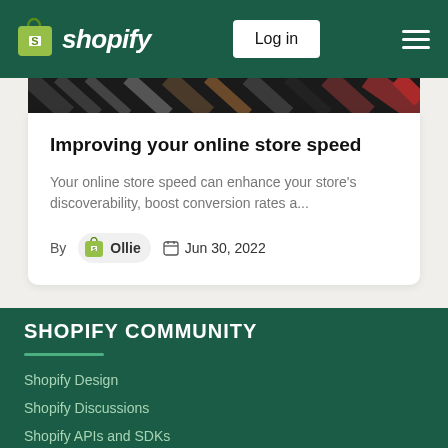Shopify — Log in
[Figure (screenshot): Striped dark colorful image banner at top of article card]
Improving your online store speed
Your online store speed can enhance your store's discoverability, boost conversion rates a...
By Ollie  Jun 30, 2022
SHOPIFY COMMUNITY
Shopify Design
Shopify Discussions
Shopify APIs and SDKs